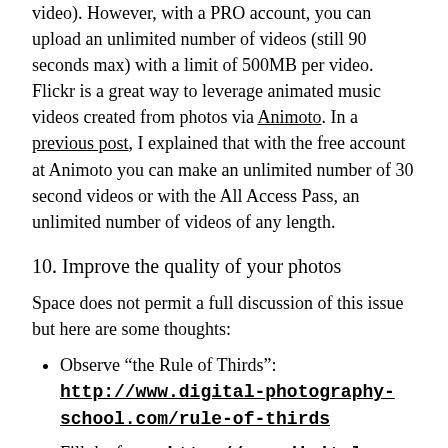video). However, with a PRO account, you can upload an unlimited number of videos (still 90 seconds max) with a limit of 500MB per video. Flickr is a great way to leverage animated music videos created from photos via Animoto. In a previous post, I explained that with the free account at Animoto you can make an unlimited number of 30 second videos or with the All Access Pass, an unlimited number of videos of any length.
10. Improve the quality of your photos
Space does not permit a full discussion of this issue but here are some thoughts:
Observe “the Rule of Thirds”: http://www.digital-photography-school.com/rule-of-thirds
Fill the frame: http://www.digital-photography-school.com/fill-your-frame
Crop your photos : This is one way to achieve “fill your